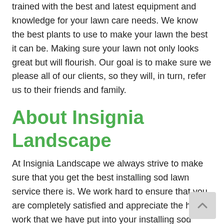trained with the best and latest equipment and knowledge for your lawn care needs. We know the best plants to use to make your lawn the best it can be. Making sure your lawn not only looks great but will flourish. Our goal is to make sure we please all of our clients, so they will, in turn, refer us to their friends and family.
About Insignia Landscape
At Insignia Landscape we always strive to make sure that you get the best installing sod lawn service there is. We work hard to ensure that you are completely satisfied and appreciate the hard work that we have put into your installing sod lawn services. With over 20 years of installing sod lawn service experience, our goal is to continue making